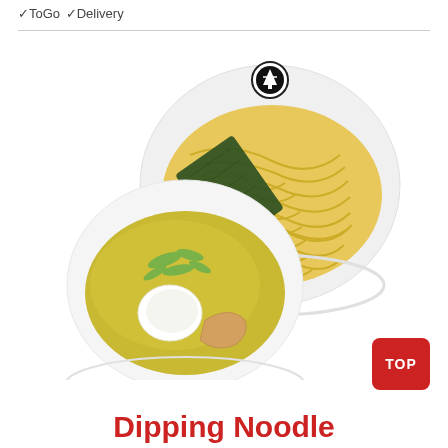✓ToGo ✓Delivery
[Figure (photo): Two white bowls: one large bowl filled with yellow ramen noodles with a restaurant logo on the rim, and one smaller bowl in the foreground containing golden broth with a soft-boiled egg, chicken, green onions, and a nori sheet. This is a tsukemen (dipping noodle) dish presentation on white background.]
TOP
Dipping Noodle